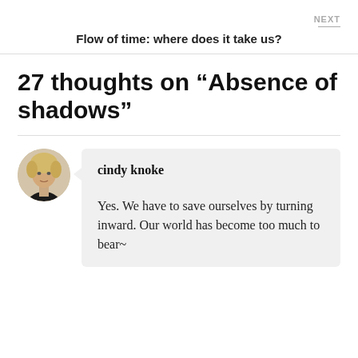NEXT
Flow of time: where does it take us?
27 thoughts on “Absence of shadows”
[Figure (photo): Circular avatar photo of a woman with short blonde hair wearing a dark top, against a light background.]
cindy knoke

Yes. We have to save ourselves by turning inward. Our world has become too much to bear~